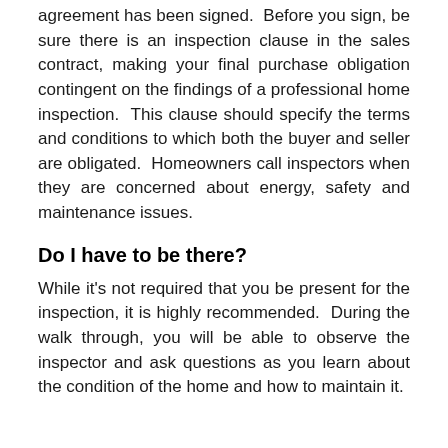agreement has been signed. Before you sign, be sure there is an inspection clause in the sales contract, making your final purchase obligation contingent on the findings of a professional home inspection. This clause should specify the terms and conditions to which both the buyer and seller are obligated. Homeowners call inspectors when they are concerned about energy, safety and maintenance issues.
Do I have to be there?
While it's not required that you be present for the inspection, it is highly recommended. During the walk through, you will be able to observe the inspector and ask questions as you learn about the condition of the home and how to maintain it.
What if the report reveals problems?
No house is perfect. If the inspector identifies